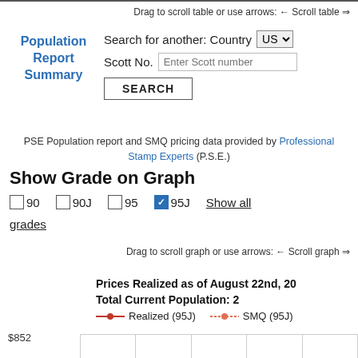Drag to scroll table or use arrows: ← Scroll table ⇒
Population Report Summary
Search for another: Country US
Scott No. Enter Scott number
SEARCH
PSE Population report and SMQ pricing data provided by Professional Stamp Experts (P.S.E.)
Show Grade on Graph
☐ 90   ☐ 90J   ☐ 95   ☑ 95J   Show all grades
Drag to scroll graph or use arrows: ← Scroll graph ⇒
Prices Realized as of August 22nd, 20
Total Current Population: 2
[Figure (line-chart): Realized (95J) and SMQ (95J) price chart with y-axis showing $852]